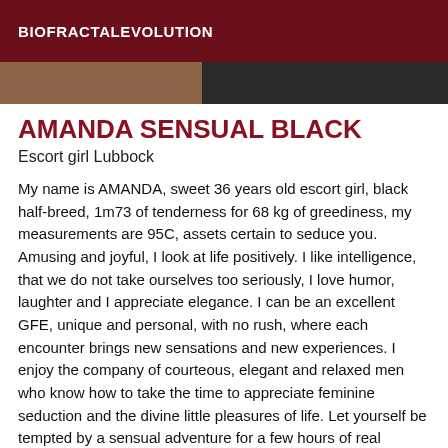BIOFRACTALEVOLUTION
[Figure (photo): Partial photo strip showing a person, split between warm skin tones on the left and dark background on the right]
AMANDA SENSUAL BLACK
Escort girl Lubbock
My name is AMANDA, sweet 36 years old escort girl, black half-breed, 1m73 of tenderness for 68 kg of greediness, my measurements are 95C, assets certain to seduce you. Amusing and joyful, I look at life positively. I like intelligence, that we do not take ourselves too seriously, I love humor, laughter and I appreciate elegance. I can be an excellent GFE, unique and personal, with no rush, where each encounter brings new sensations and new experiences. I enjoy the company of courteous, elegant and relaxed men who know how to take the time to appreciate feminine seduction and the divine little pleasures of life. Let yourself be tempted by a sensual adventure for a few hours of real relaxation.